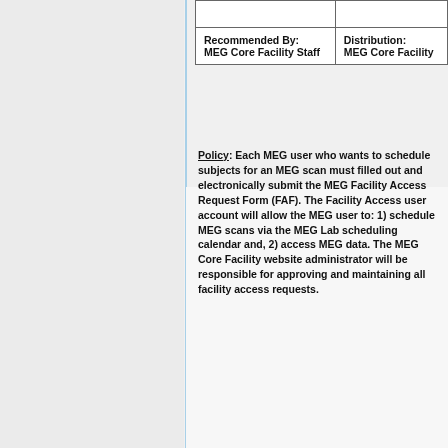|  |  |
| Recommended By:
MEG Core Facility Staff | Distribution:
MEG Core Facility |
Policy: Each MEG user who wants to schedule subjects for an MEG scan must filled out and electronically submit the MEG Facility Access Request Form (FAF). The Facility Access user account will allow the MEG user to: 1) schedule MEG scans via the MEG Lab scheduling calendar and, 2) access MEG data. The MEG Core Facility website administrator will be responsible for approving and maintaining all facility access requests.